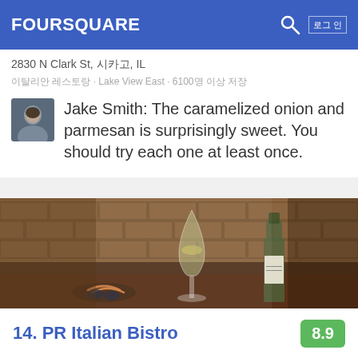FOURSQUARE
2830 N Clark St, 시카고, IL
이탈리안 레스토랑 · Lake View East · 6100명 이상 저장
Jake Smith: The caramelized onion and parmesan is surprisingly sweet. You should try each one at least once.
[Figure (photo): Restaurant interior photo showing a wine glass with white wine, a wine bottle, mussels and shrimp on a table with a brick wall background]
14. PR Italian Bistro
8.9